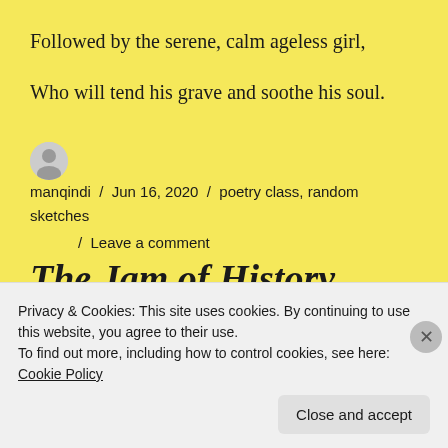Followed by the serene, calm ageless girl,
Who will tend his grave and soothe his soul.
manqindi / Jun 16, 2020 / poetry class, random sketches / Leave a comment
The Jam of History
Privacy & Cookies: This site uses cookies. By continuing to use this website, you agree to their use.
To find out more, including how to control cookies, see here: Cookie Policy
Close and accept